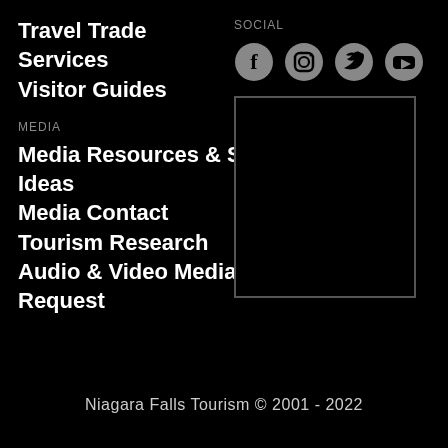Travel Trade
Services
Visitor Guides
SOCIAL
[Figure (illustration): Social media icons: Facebook, Instagram, Twitter, YouTube]
[Figure (photo): Empty placeholder image box with white border]
MEDIA
Media Resources & Story Ideas
Media Contact
Tourism Research
Audio & Video Media Request
Niagara Falls Tourism © 2001 - 2022